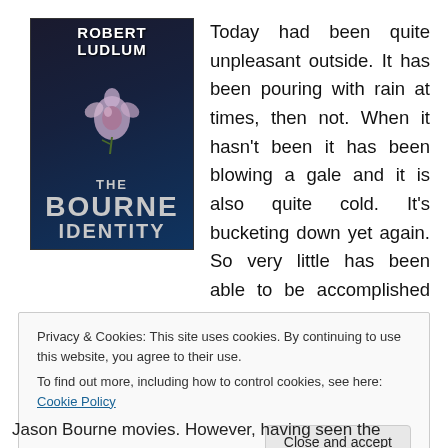[Figure (illustration): Book cover of 'The Bourne Identity' by Robert Ludlum. Dark blue/black background with a flower image in the center. White bold text reads 'ROBERT LUDLUM' at top, and 'THE BOURNE IDENTITY' in large block letters at the bottom.]
Today had been quite unpleasant outside. It has been pouring with rain at times, then not. When it hasn't been it has been blowing a gale and it is also quite cold. It's bucketing down yet again. So very little has been able to be accomplished outside today. No great outdoors for me on this wet and miserable day.
Privacy & Cookies: This site uses cookies. By continuing to use this website, you agree to their use.
To find out more, including how to control cookies, see here: Cookie Policy
Jason Bourne movies. However, having seen the movies it